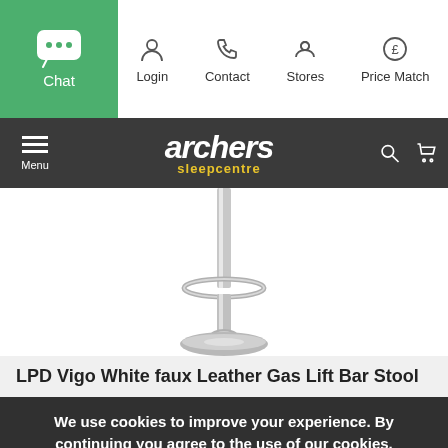Chat | Login | Contact | Stores | Price Match
archers sleepcentre - Menu, Search, Cart
[Figure (photo): Bar stool chrome pedestal base and footrest ring, close-up product shot on white background]
LPD Vigo White faux Leather Gas Lift Bar Stool
We use cookies to improve your experience. By continuing you agree to the use of our cookies.
ACCEPT AND CLOSE